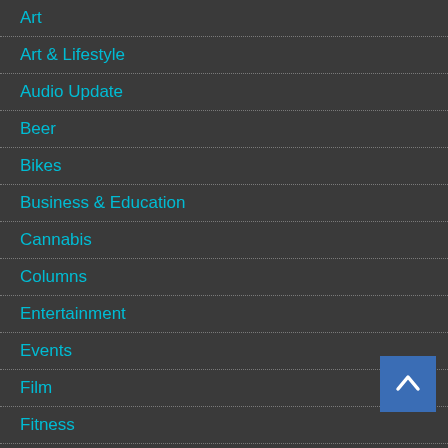Art
Art & Lifestyle
Audio Update
Beer
Bikes
Business & Education
Cannabis
Columns
Entertainment
Events
Film
Fitness
Food
Gardens & Landscapes
Health and Well...